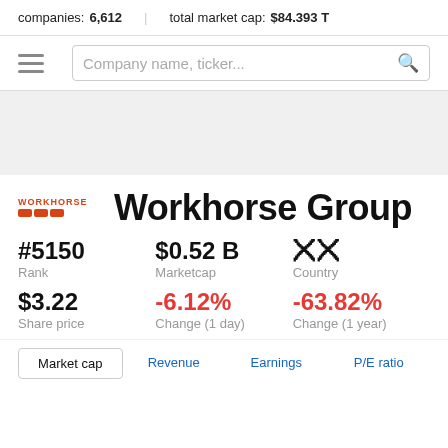companies: 6,612   total market cap: $84.393 T
Company name, ticker...
Workhorse Group
#5150
Rank
$3.22
Share price
$0.52 B
Marketcap
-6.12%
Change (1 day)
[flag]
Country
-63.82%
Change (1 year)
Market cap   Revenue   Earnings   P/E ratio